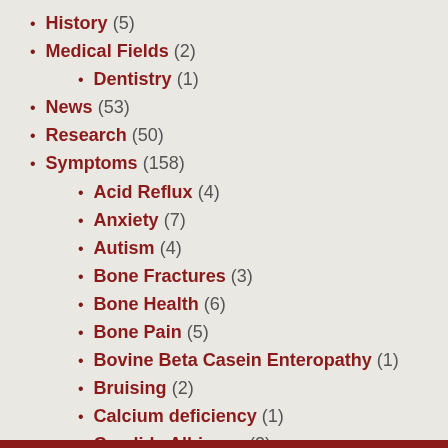History (5)
Medical Fields (2)
Dentistry (1)
News (53)
Research (50)
Symptoms (158)
Acid Reflux (4)
Anxiety (7)
Autism (4)
Bone Fractures (3)
Bone Health (6)
Bone Pain (5)
Bovine Beta Casein Enteropathy (1)
Bruising (2)
Calcium deficiency (1)
Candida Albicans (2)
Cataracts (1)
Constipation (2)
Copper deficiency (3)
Dental Defects (?)